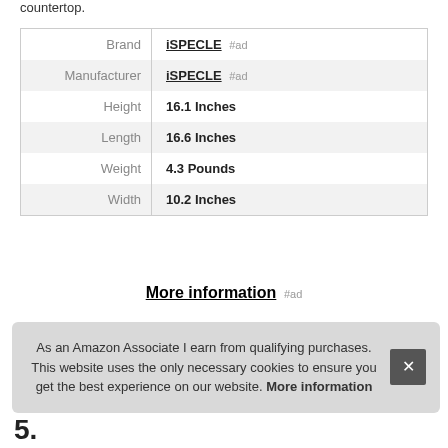countertop.
| Brand | iSPECLE #ad |
| Manufacturer | iSPECLE #ad |
| Height | 16.1 Inches |
| Length | 16.6 Inches |
| Weight | 4.3 Pounds |
| Width | 10.2 Inches |
More information #ad
As an Amazon Associate I earn from qualifying purchases. This website uses the only necessary cookies to ensure you get the best experience on our website. More information